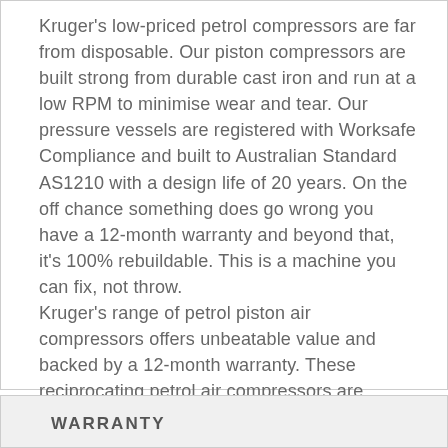Kruger's low-priced petrol compressors are far from disposable. Our piston compressors are built strong from durable cast iron and run at a low RPM to minimise wear and tear. Our pressure vessels are registered with Worksafe Compliance and built to Australian Standard AS1210 with a design life of 20 years. On the off chance something does go wrong you have a 12-month warranty and beyond that, it's 100% rebuildable. This is a machine you can fix, not throw.
Kruger's range of petrol piston air compressors offers unbeatable value and backed by a 12-month warranty. These reciprocating petrol air compressors are ideally suited in low to medium air demands.
WARRANTY